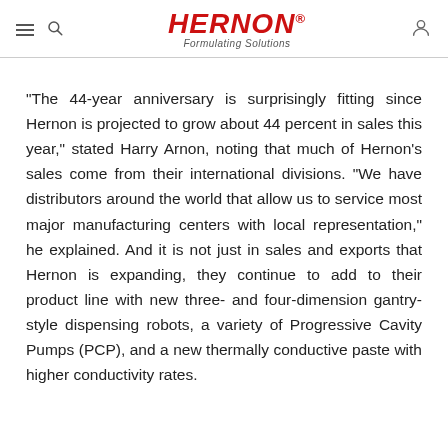HERNON® Formulating Solutions
“The 44-year anniversary is surprisingly fitting since Hernon is projected to grow about 44 percent in sales this year,” stated Harry Arnon, noting that much of Hernon’s sales come from their international divisions. “We have distributors around the world that allow us to service most major manufacturing centers with local representation,” he explained. And it is not just in sales and exports that Hernon is expanding, they continue to add to their product line with new three- and four-dimension gantry-style dispensing robots, a variety of Progressive Cavity Pumps (PCP), and a new thermally conductive paste with higher conductivity rates.